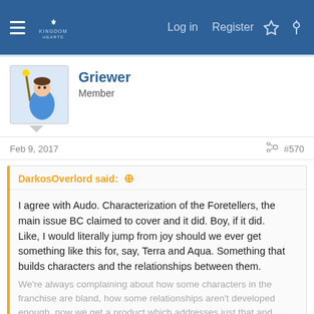Forum navigation header with hamburger menu, logo, Log in, Register, and icon buttons
Griewer
Member
Feb 9, 2017   #570
DarkosOverlord said: ↑
I agree with Audo. Characterization of the Foretellers, the main issue BC claimed to cover and it did. Boy, if it did.
Like, I would literally jump from joy should we ever get something like this for, say, Terra and Aqua. Something that builds characters and the relationships between them.
We're always complaining about how some characters in the franchise are bland, how some relationships aren't developed enough, now we get a product which addresses just that and... we're still
Click to expand...
😲
I'm starting to have that feeling where I've watched an entirely